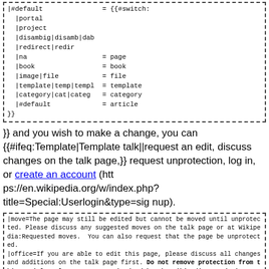[Figure (screenshot): Code block showing wiki template switch syntax with portal, project, disambig, redirect, na, book, image, template, category, #default cases]
}} and you wish to make a change, you can {{#ifeq:Template|Template talk||request an edit, discuss changes on the talk page,}} request unprotection, log in, or create an account (https://en.wikipedia.org/w/index.php?title=Special:Userlogin&type=signup).
[Figure (screenshot): Code block showing wiki template move, office, and create parameters with protection and deletion discussion text]